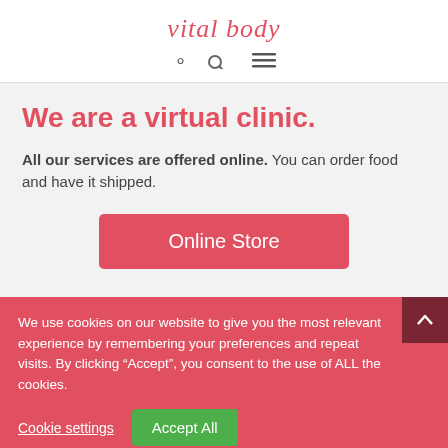vital body
We are a virtual clinic.
All our services are offered online. You can order food and have it shipped.
Online Store
We use cookies on our website to give you the most relevant experience by remembering your preferences and repeat visits. By clicking “Accept”, you consent to the use of ALL the cookies.
Cookie settings
Accept All